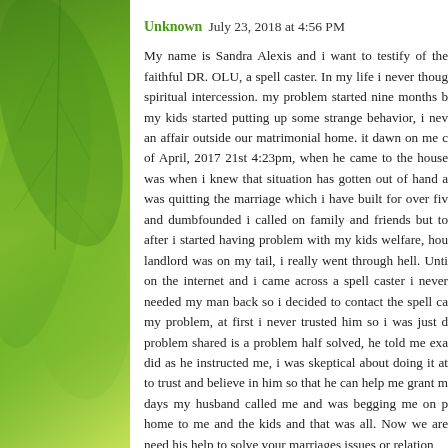Unknown  July 23, 2018 at 4:56 PM
My name is Sandra Alexis and i want to testify of the faithful DR. OLU, a spell caster. In my life i never thought spiritual intercession. my problem started nine months b my kids started putting up some strange behavior, i nev an affair outside our matrimonial home. it dawn on me c of April, 2017 21st 4:23pm, when he came to the house was when i knew that situation has gotten out of hand a was quitting the marriage which i have built for over fiv and dumbfounded i called on family and friends but to after i started having problem with my kids welfare, hou landlord was on my tail, i really went through hell. Unti on the internet and i came across a spell caster i never needed my man back so i decided to contact the spell ca my problem, at first i never trusted him so i was just d problem shared is a problem half solved, he told me exa did as he instructed me, i was skeptical about doing it at to trust and believe in him so that he can help me grant m days my husband called me and was begging me on p home to me and the kids and that was all. Now we are need his help to solve your marriages issues or relation